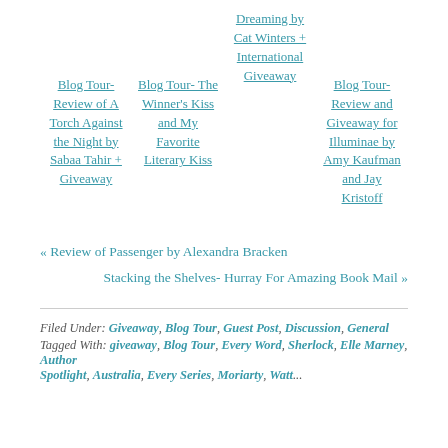Blog Tour- Review of A Torch Against the Night by Sabaa Tahir + Giveaway
Blog Tour- The Winner's Kiss and My Favorite Literary Kiss
Dreaming by Cat Winters + International Giveaway
Blog Tour- Review and Giveaway for Illuminae by Amy Kaufman and Jay Kristoff
« Review of Passenger by Alexandra Bracken
Stacking the Shelves- Hurray For Amazing Book Mail »
Filed Under: Giveaway, Blog Tour, Guest Post, Discussion, General
Tagged With: giveaway, Blog Tour, Every Word, Sherlock, Elle Marney, Author Spotlight, Australia, Every Series, Moriarty, Watt...